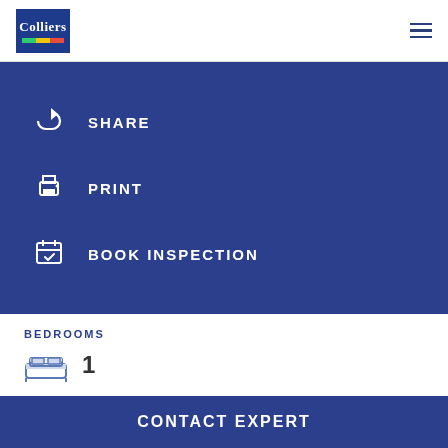[Figure (logo): Colliers logo - blue rectangle with company name and colored stripes (green, yellow, red)]
SHARE
PRINT
BOOK INSPECTION
BEDROOMS
1
BATHROOMS
CONTACT EXPERT